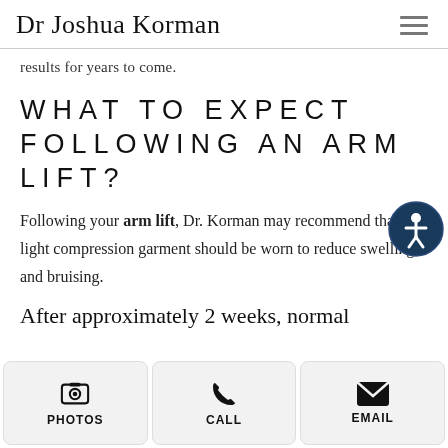Dr Joshua Korman
results for years to come.
WHAT TO EXPECT FOLLOWING AN ARM LIFT?
Following your arm lift, Dr. Korman may recommend that a light compression garment should be worn to reduce swelling and bruising.
After approximately 2 weeks, normal activity can be resumed, but
[Figure (other): Accessibility icon button — circular dark blue badge with white wheelchair/person symbol]
PHOTOS | CALL | EMAIL